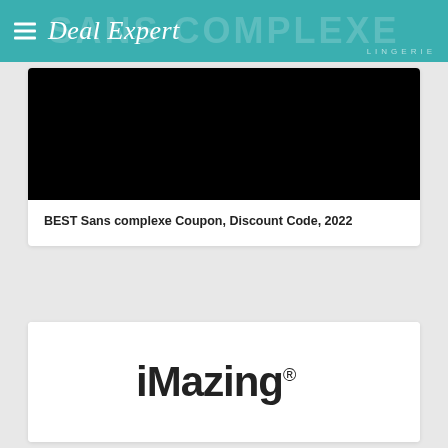Deal Expert
[Figure (screenshot): Sans complexe lingerie product image on black background]
BEST Sans complexe Coupon, Discount Code, 2022
[Figure (logo): iMazing logo with USB trident icon in a gradient circle and iMazing® text]